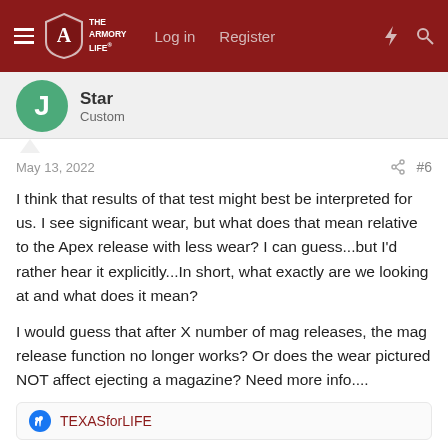The Armory Life — Log in  Register
J  Star  Custom
May 13, 2022  #6
I think that results of that test might best be interpreted for us. I see significant wear, but what does that mean relative to the Apex release with less wear? I can guess...but I'd rather hear it explicitly...In short, what exactly are we looking at and what does it mean?
I would guess that after X number of mag releases, the mag release function no longer works? Or does the wear pictured NOT affect ejecting a magazine? Need more info....
TEXASforLIFE